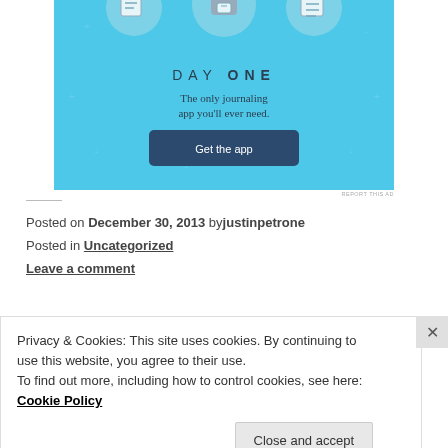[Figure (illustration): Day One journaling app advertisement banner with light blue background, showing illustrated icons of documents, headphones, and a person holding a phone. Text reads 'DAY ONE - The only journaling app you'll ever need.' with a dark blue 'Get the app' button.]
REPORT THIS AD
Posted on December 30, 2013 by justinpetrone
Posted in Uncategorized
Leave a comment
Privacy & Cookies: This site uses cookies. By continuing to use this website, you agree to their use.
To find out more, including how to control cookies, see here: Cookie Policy
Close and accept